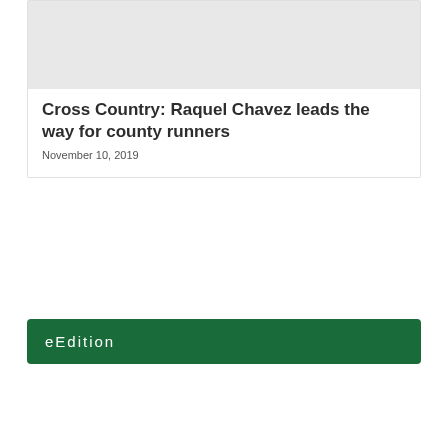[Figure (photo): Gray placeholder image for article thumbnail]
Cross Country: Raquel Chavez leads the way for county runners
November 10, 2019
eEdition